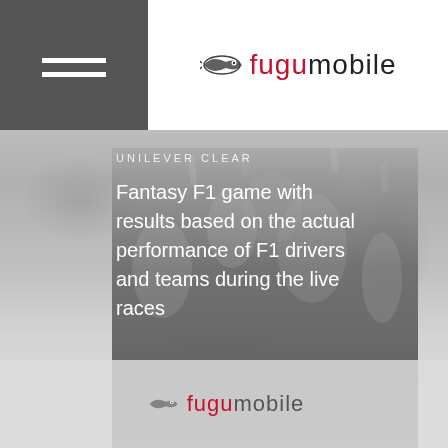[Figure (logo): Fugu Mobile logo with stylized fish/bird icon and brand name in red and black text]
[Figure (photo): F1 race crowd background image in grayscale tones, faded]
UNILEVER CLEAR
Fantasy F1 game with results based on the actual performance of F1 drivers and teams during the live races
[Figure (logo): Fugu Mobile logo repeated in footer area]